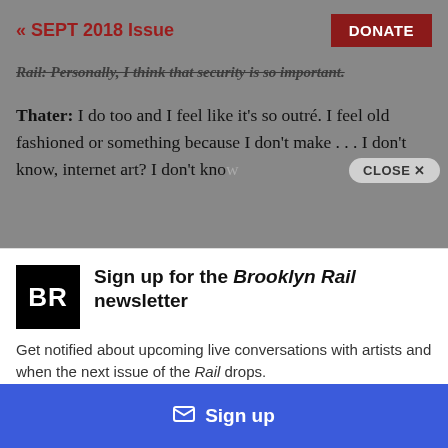« SEPT 2018 Issue
Rail: Personally, I think that security is so important.
Thater: I do too and I feel like it's so outré. I feel old fashioned or something because I don't make . . . I don't know, internet art? I don't know
[Figure (screenshot): Brooklyn Rail newsletter signup modal overlay with BR logo, title 'Sign up for the Brooklyn Rail newsletter', description text, and a blue Sign up button]
Sign up for the Brooklyn Rail newsletter
Get notified about upcoming live conversations with artists and when the next issue of the Rail drops.
Sign up